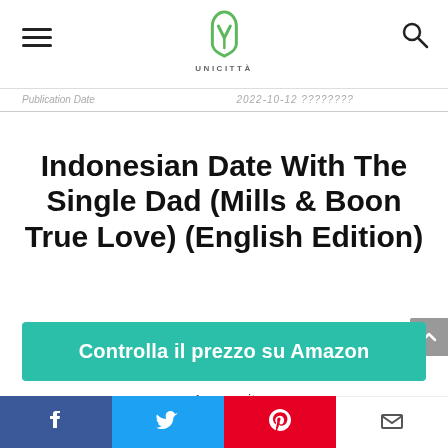UNICITTÀ
| Publication Date | 2022-10-12 ???????? |
| --- | --- |
Indonesian Date With The Single Dad (Mills & Boon True Love) (English Edition)
Controlla il prezzo su Amazon
Amazon.it
Facebook Twitter Pinterest Email